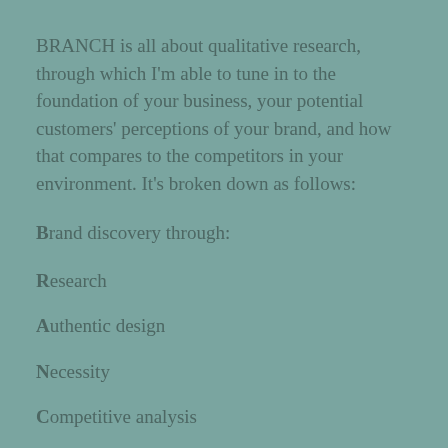BRANCH is all about qualitative research, through which I'm able to tune in to the foundation of your business, your potential customers' perceptions of your brand, and how that compares to the competitors in your environment. It's broken down as follows:
Brand discovery through:
Research
Authentic design
Necessity
Competitive analysis
History
To look a bit closer: